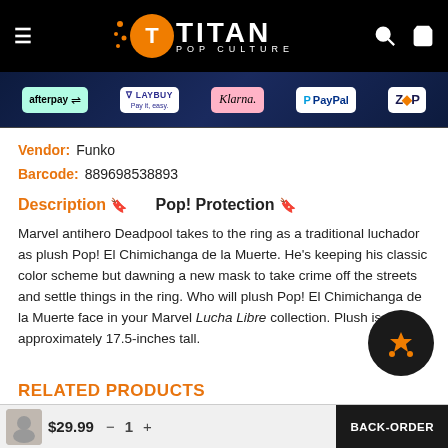Titan Pop Culture - navigation header with logo, hamburger menu, search and cart icons
[Figure (screenshot): Payment provider logos banner: afterpay, LAYBUY Pay it easy, Klarna, PayPal, ZIP on dark background]
Vendor: Funko
Barcode: 889698538893
Description 🔖   Pop! Protection 🔖
Marvel antihero Deadpool takes to the ring as a traditional luchador as plush Pop! El Chimichanga de la Muerte. He's keeping his classic color scheme but dawning a new mask to take crime off the streets and settle things in the ring. Who will plush Pop! El Chimichanga de la Muerte face in your Marvel Lucha Libre collection. Plush is approximately 17.5-inches tall.
RELATED PRODUCTS
$29.99
BACK-ORDER